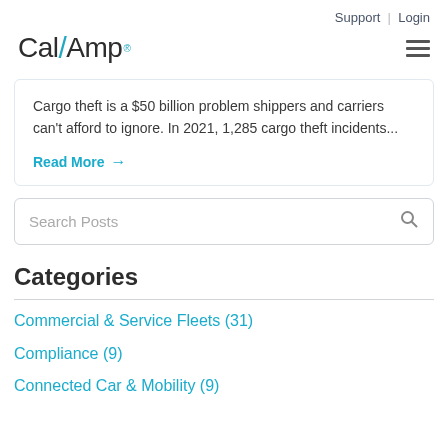Support | Login
[Figure (logo): CalAmp logo with teal slash separator and registered trademark dot]
Cargo theft is a $50 billion problem shippers and carriers can't afford to ignore. In 2021, 1,285 cargo theft incidents...
Read More →
Search Posts
Categories
Commercial & Service Fleets (31)
Compliance (9)
Connected Car & Mobility (9)